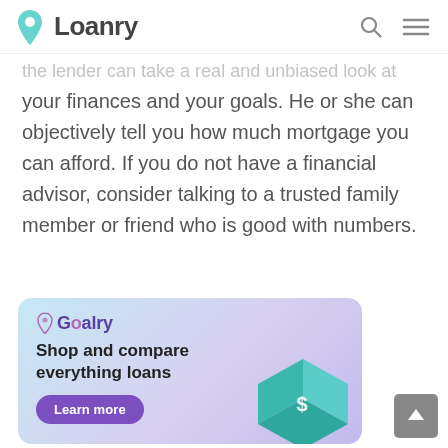Loanry
the lender can take a real and unbiased look at your finances and your goals. He or she can objectively tell you how much mortgage you can afford. If you do not have a financial advisor, consider talking to a trusted family member or friend who is good with numbers.
[Figure (infographic): Goalry advertisement banner with gradient blue-purple background. Shows Goalry logo, headline 'Shop and compare everything loans', a purple 'Learn more' button, and an isometric illustration of a credit card with a dollar sign.]